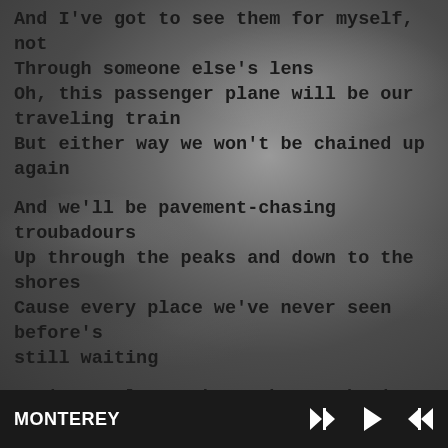And I've got to see them for myself, not
Through someone else's lens
Oh, this passenger plane will be our
traveling train
But either way we won't be chained up
again
And we'll be pavement-chasing
troubadours
Up through the peaks and down to the shores
Cause every place we've never seen before's
still waiting
Let's go always where the weather's
changing
Forever leaving, never going, goodbye...
MONTEREY